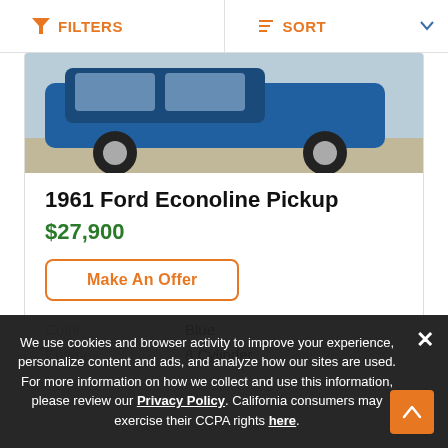FILTERS   SORT
[Figure (photo): Partial view of a blue classic Ford pickup truck showing the lower body, wheels, and tires on a grey surface.]
1961 Ford Econoline Pickup
$27,900
Make An Offer
Color   Blue
Engine   8 Cylinder
We use cookies and browser activity to improve your experience, personalize content and ads, and analyze how our sites are used. For more information on how we collect and use this information, please review our Privacy Policy. California consumers may exercise their CCPA rights here.